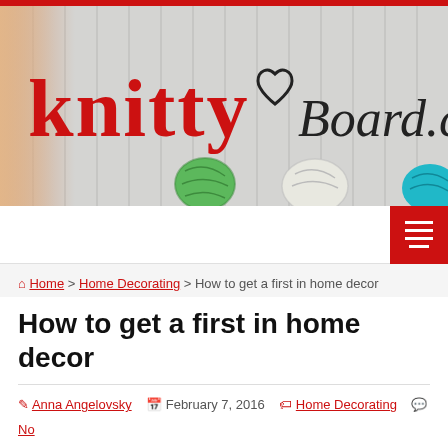[Figure (logo): KnittyBoard.com website header banner with cross-stitch style red 'knitty' logo text, heart symbol, and 'Board.com' in cursive, wooden plank background, yarn balls at bottom, person on left]
Navigation bar with menu button
Home > Home Decorating > How to get a first in home decor
How to get a first in home decor
Anna Angelovsky  February 7, 2016  Home Decorating  No Comments